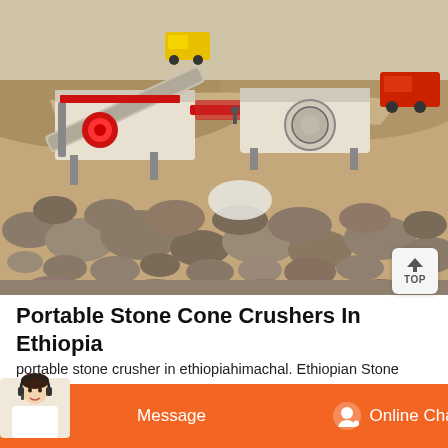[Figure (photo): Aerial view of portable stone crushing equipment operating at a quarry/mining site in Ethiopia, with large machinery including jaw crushers on trucks, rocky terrain with large stones in the foreground, earthen hillside roads in the background]
Portable Stone Cone Crushers In Ethiopia
portable stone crusher in ethiopiahimachal. Ethiopian Stone Glass Jaw Crusher With Divider Line . portable coal jaw crusher for sale ekskluzief.be. jaw crusher concrete coarse crushing machine for laboratory diesel stone coal jaw crusher portable small jaw crusher S $800.00-$2000 set 1.0 sets crushers for saleequipment trader